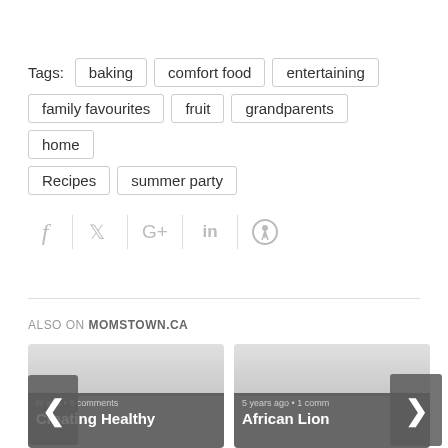Tags: baking  comfort food  entertaining  family favourites  fruit  grandparents  home  Recipes  summer party
[Figure (infographic): Social sharing icons: Facebook (f), Twitter (bird), Google+ (G+), LinkedIn (in), Pinterest (p), separated by vertical dividers]
ALSO ON MOMSTOWN.CA
rs ago • 8 comments  Creating Healthy
5 years ago • 1 comm  African Lion